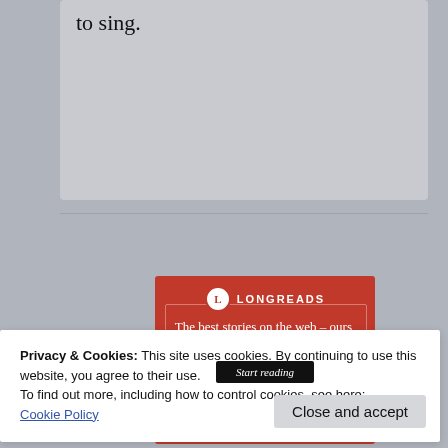to sing.
[Figure (infographic): Longreads advertisement banner on red background with logo, headline 'The best stories on the web – ours, and everyone else's.' and a 'Start reading' button]
Privacy & Cookies: This site uses cookies. By continuing to use this website, you agree to their use.
To find out more, including how to control cookies, see here:
Cookie Policy
Close and accept